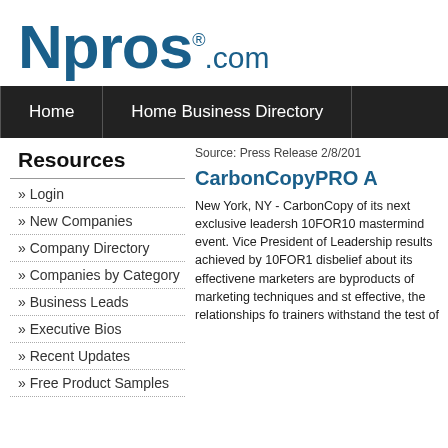[Figure (logo): NPROS.com logo in dark teal/blue bold text]
Home | Home Business Directory
Resources
» Login
» New Companies
» Company Directory
» Companies by Category
» Business Leads
» Executive Bios
» Recent Updates
» Free Product Samples
Source: Press Release 2/8/201
CarbonCopyPRO A
New York, NY - CarbonCopy of its next exclusive leadership 10FOR10 mastermind event. Vice President of Leadership results achieved by 10FOR1 disbelief about its effectivene marketers are byproducts of marketing techniques and st effective, the relationships fo trainers withstand the test of